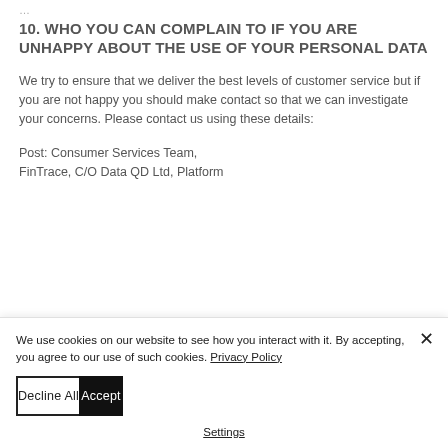…(truncated text above)
10. WHO YOU CAN COMPLAIN TO IF YOU ARE UNHAPPY ABOUT THE USE OF YOUR PERSONAL DATA
We try to ensure that we deliver the best levels of customer service but if you are not happy you should make contact so that we can investigate your concerns. Please contact us using these details:
Post: Consumer Services Team, FinTrace, C/O Data QD Ltd, Platform
We use cookies on our website to see how you interact with it. By accepting, you agree to our use of such cookies. Privacy Policy
Decline All
Accept
Settings